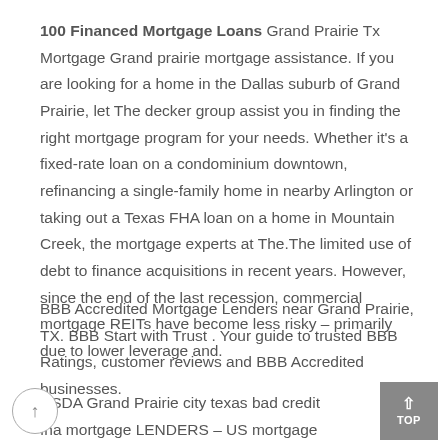100 Financed Mortgage Loans Grand Prairie Tx Mortgage Grand prairie mortgage assistance. If you are looking for a home in the Dallas suburb of Grand Prairie, let The decker group assist you in finding the right mortgage program for your needs. Whether it's a fixed-rate loan on a condominium downtown, refinancing a single-family home in nearby Arlington or taking out a Texas FHA loan on a home in Mountain Creek, the mortgage experts at The.The limited use of debt to finance acquisitions in recent years. However, since the end of the last recession, commercial mortgage REITs have become less risky – primarily due to lower leverage and.
BBB Accredited Mortgage Lenders near Grand Prairie, TX. BBB Start with Trust . Your guide to trusted BBB Ratings, customer reviews and BBB Accredited businesses.
USDA Grand Prairie city texas bad credit fha mortgage LENDERS – US mortgage lenders has access to usda mortgage lenders approving borrowers all the way down to a